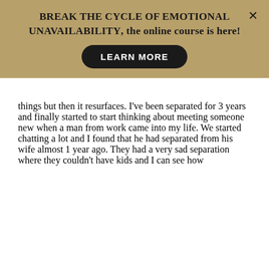BREAK THE CYCLE OF EMOTIONAL UNAVAILABILITY, the online course is here!
things but then it resurfaces. I've been separated for 3 years and finally started to start thinking about meeting someone new when a man from work came into my life. We started chatting a lot and I found that he had separated from his wife almost 1 year ago. They had a very sad separation where they couldn't have kids and I can see how